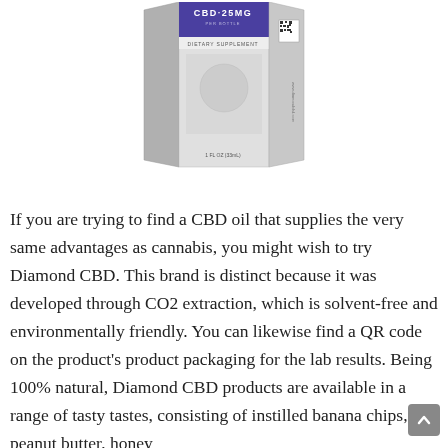[Figure (photo): Product photo of a CBD dietary supplement box labeled 'CBD·25MG PER BOTTLE' with a purple header band, 'DIETARY SUPPLEMENT' text, and a QR code on the side. The box shows '1 FL OZ (33mL)' at the bottom.]
If you are trying to find a CBD oil that supplies the very same advantages as cannabis, you might wish to try Diamond CBD. This brand is distinct because it was developed through CO2 extraction, which is solvent-free and environmentally friendly. You can likewise find a QR code on the product's product packaging for the lab results. Being 100% natural, Diamond CBD products are available in a range of tasty tastes, consisting of instilled banana chips, peanut butter, honey